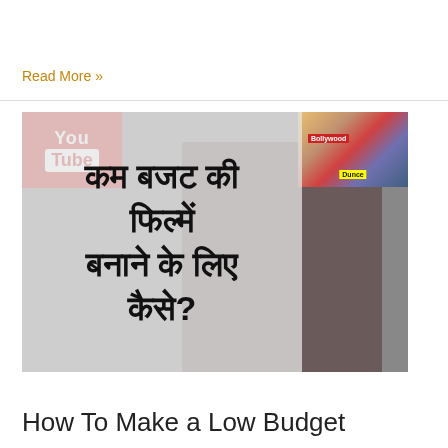Read More »
[Figure (screenshot): YouTube video thumbnail showing a man with glasses against a dark background, Hindi text overlay reading 'कम बजट की फिल्में बनाने के लिए कैसे?' (How to make low budget films?), YouTube logo on left, and a Bollywood collage image on the right]
How To Make a Low Budget